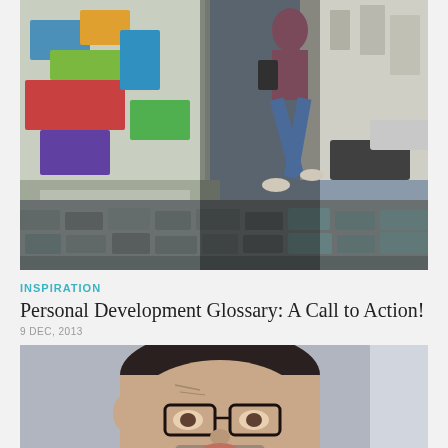[Figure (photo): A person jumping over cobblestone street with graffiti wall on left and cars/buildings on right, wide-angle shot]
INSPIRATION
Personal Development Glossary: A Call to Action!
9 DEC, 2013
[Figure (photo): Close-up photo of a man with glasses tilting his head, wearing a suit with red tie, looking at camera]